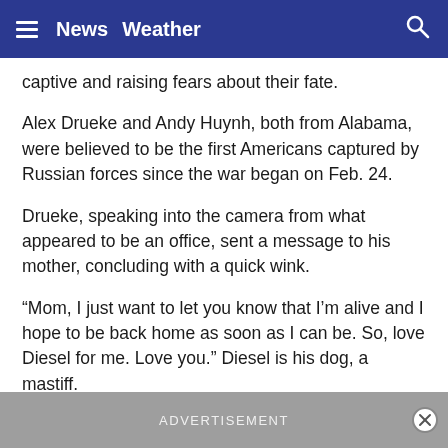≡  News  Weather  🔍
captive and raising fears about their fate.
Alex Drueke and Andy Huynh, both from Alabama, were believed to be the first Americans captured by Russian forces since the war began on Feb. 24.
Drueke, speaking into the camera from what appeared to be an office, sent a message to his mother, concluding with a quick wink.
“Mom, I just want to let you know that I’m alive and I hope to be back home as soon as I can be. So, love Diesel for me. Love you.” Diesel is his dog, a mastiff.
ADVERTISEMENT